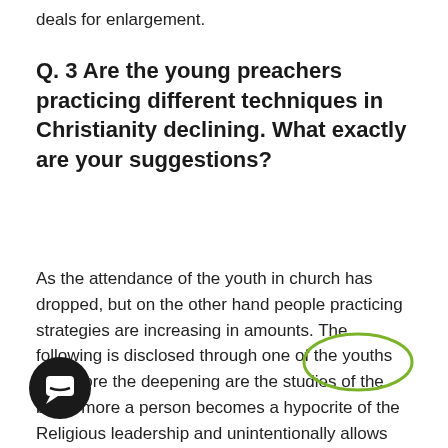deals for enlargement.
Q. 3 Are the young preachers practicing different techniques in Christianity declining. What exactly are your suggestions?
As the attendance of the youth in church has dropped, but on the other hand people practicing strategies are increasing in amounts. The following is disclosed through one of the youths that more the deepening are the studies of the bible, more a person becomes a hypocrite of the Religious leadership and unintentionally allows and performs the approach to life of the clergy right or wrong at times unknowingly. In such circumstance, the practices are reflected and be different from those that should be Seen are still some true Religious youngsters who will vary in their attitude and conduct, however in spite of such difference, they aren't involved into the